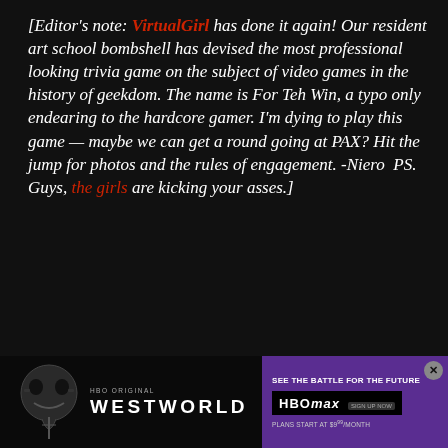[Editor's note: VirtualGirl has done it again! Our resident art school bombshell has devised the most professional looking trivia game on the subject of video games in the history of geekdom. The name is For Teh Win, a typo only endearing to the hardcore gamer. I'm dying to play this game — maybe we can get a round going at PAX? Hit the jump for photos and the rules of engagement. -Niero  PS. Guys, the girls are kicking your asses.]
Time for another one of those giant game related projects that I worked on for school. Not as cool as my Nintendo project, but it was still fun to put toge
[Figure (photo): Westworld HBO advertisement banner at bottom of page showing skull imagery and purple HBO Max branding panel]